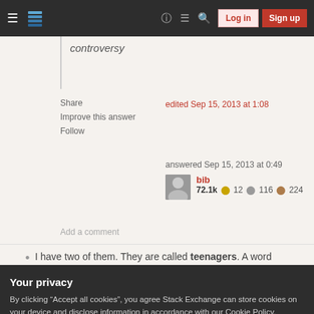Stack Exchange navigation bar with Log in and Sign up buttons
controversy
Share
Improve this answer
Follow
edited Sep 15, 2013 at 1:08
answered Sep 15, 2013 at 0:49
bib 72.1k ●12 ◉116 ◉224
Add a comment
I have two of them. They are called teenagers. A word
Your privacy
By clicking "Accept all cookies", you agree Stack Exchange can store cookies on your device and disclose information in accordance with our Cookie Policy.
Accept all cookies
Customize settings
Add a comment